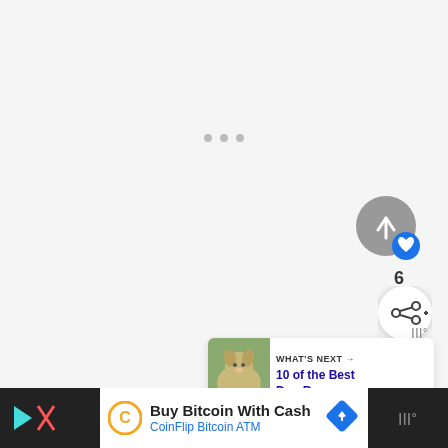[Figure (screenshot): Light gray background area with three small gray dots centered in middle, indicating a loading or carousel state]
[Figure (illustration): Gray circular like/upvote button with blue heart icon overlay, showing count of 6, and white circular share button below]
[Figure (screenshot): What's Next card showing dog photo thumbnail with label 'WHAT'S NEXT →' and title '10 of the Best Dog Rescue...' and weather.com logo]
Buy Bitcoin With Cash
CoinFlip Bitcoin ATM